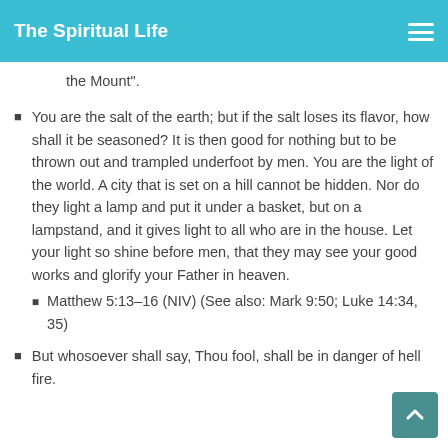The Spiritual Life
the Mount".
You are the salt of the earth; but if the salt loses its flavor, how shall it be seasoned? It is then good for nothing but to be thrown out and trampled underfoot by men. You are the light of the world. A city that is set on a hill cannot be hidden. Nor do they light a lamp and put it under a basket, but on a lampstand, and it gives light to all who are in the house. Let your light so shine before men, that they may see your good works and glorify your Father in heaven.
Matthew 5:13–16 (NIV) (See also: Mark 9:50; Luke 14:34, 35)
But whosoever shall say, Thou fool, shall be in danger of hell fire.